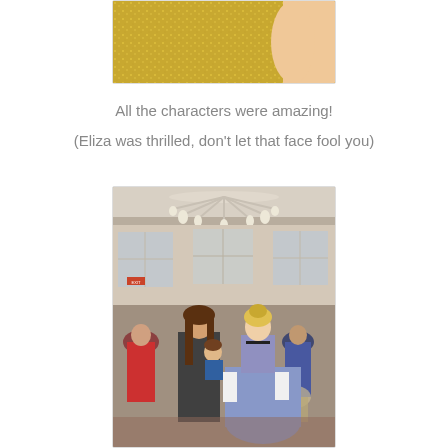[Figure (photo): Partial photo showing bottom portion of a gold/sparkly dress or costume, with a person's arm visible on the right side.]
All the characters were amazing!
(Eliza was thrilled, don't let that face fool you)
[Figure (photo): Indoor photo at what appears to be a Disney character dining experience. A large chandelier hangs from the ceiling. A woman holds a small child, and they are posing with a character dressed as Cinderella in a blue/silver gown with white gloves. Other guests and characters are visible in the background of an elegant ballroom-style dining room.]